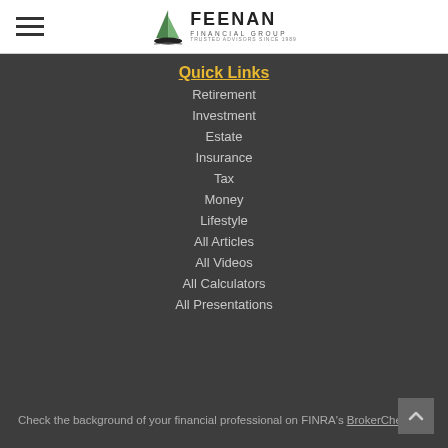Feenan Financial Group
Quick Links
Retirement
Investment
Estate
Insurance
Tax
Money
Lifestyle
All Articles
All Videos
All Calculators
All Presentations
Check the background of your financial professional on FINRA's BrokerCheck.